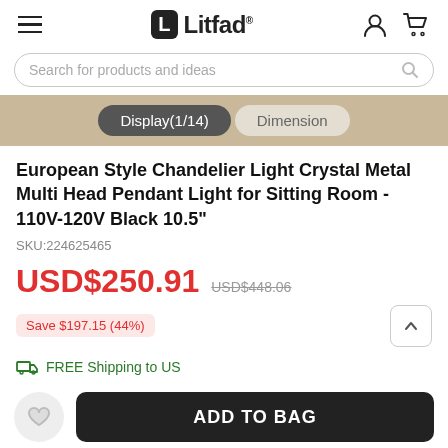Litfad
Search for products and ideas
Display(1/14)   Dimension
European Style Chandelier Light Crystal Metal Multi Head Pendant Light for Sitting Room - 110V-120V Black 10.5"
SKU:224625465
USD$250.91  USD$448.06
Save $197.15 (44%)
FREE Shipping to US
ADD TO BAG